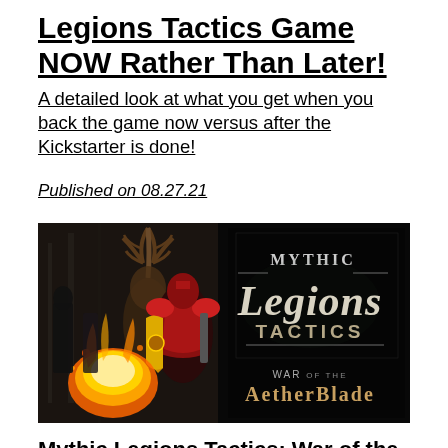Legions Tactics Game NOW Rather Than Later!
A detailed look at what you get when you back the game now versus after the Kickstarter is done!
Published on 08.27.21
[Figure (illustration): Mythic Legions Tactics: War of the Aetherblade game promotional image showing armored fantasy characters with fire and the game logo]
Mythic Legions Tactics: War of the